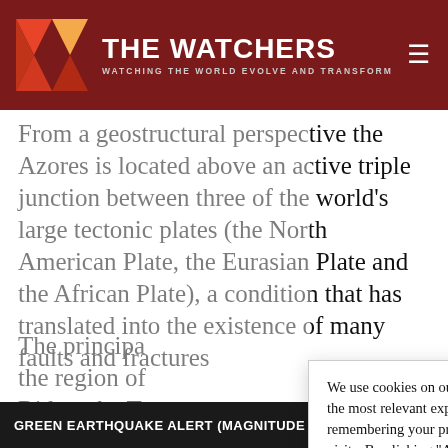THE WATCHERS — WATCHING THE WORLD EVOLVE AND TRANSFORM
From a geostructural perspective the Azores is located above an active triple junction between three of the world's large tectonic plates (the North American Plate, the Eurasian Plate and the African Plate), a condition that has translated into the existence of many faults and fractures
The principal [tectonic structures in] the region of [the Azores are the Mid-Atlantic] Ridge, the Te[rceira Rift, the East Azores Fracture] Zone and the [Gloria Fault. The Mid-Atlantic] Ridge is the m[ost prominent]
We use cookies on our website to give you the most relevant experience by remembering your preferences and repeat visits. By clicking "Accept", you consent to the use of ALL the cookies.
Do not sell my personal information.
GREEN EARTHQUAKE ALERT (MAGNITUDE 5.5M